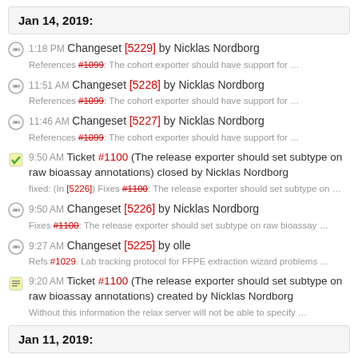Jan 14, 2019:
1:18 PM Changeset [5229] by Nicklas Nordborg
References #1099: The cohort exporter should have support for …
11:51 AM Changeset [5228] by Nicklas Nordborg
References #1099: The cohort exporter should have support for …
11:46 AM Changeset [5227] by Nicklas Nordborg
References #1099: The cohort exporter should have support for …
9:50 AM Ticket #1100 (The release exporter should set subtype on raw bioassay annotations) closed by Nicklas Nordborg
fixed: (In [5226]) Fixes #1100: The release exporter should set subtype on …
9:50 AM Changeset [5226] by Nicklas Nordborg
Fixes #1100: The release exporter should set subtype on raw bioassay …
9:27 AM Changeset [5225] by olle
Refs #1029. Lab tracking protocol for FFPE extraction wizard problems …
9:20 AM Ticket #1100 (The release exporter should set subtype on raw bioassay annotations) created by Nicklas Nordborg
Without this information the relax server will not be able to specify …
Jan 11, 2019: